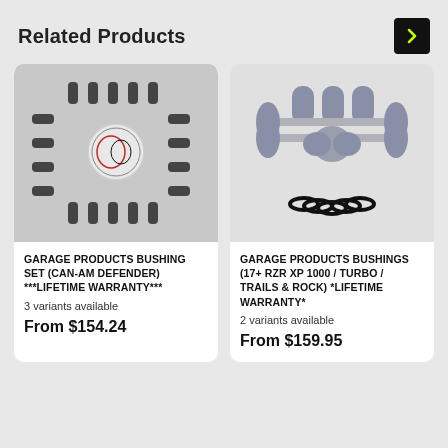Related Products
[Figure (photo): Photo of a bushing set for Can-Am Defender, multiple black cylindrical bushings arranged with a logo in the center, on grey background]
GARAGE PRODUCTS BUSHING SET (CAN-AM DEFENDER) ***LIFETIME WARRANTY***
3 variants available
From $154.24
[Figure (photo): Photo of grey bushings and black O-rings for 17+ RZR XP 1000 / Turbo / Trails & Rock, parts arranged on white background]
GARAGE PRODUCTS BUSHINGS (17+ RZR XP 1000 / TURBO / TRAILS & ROCK) *LIFETIME WARRANTY*
2 variants available
From $159.95